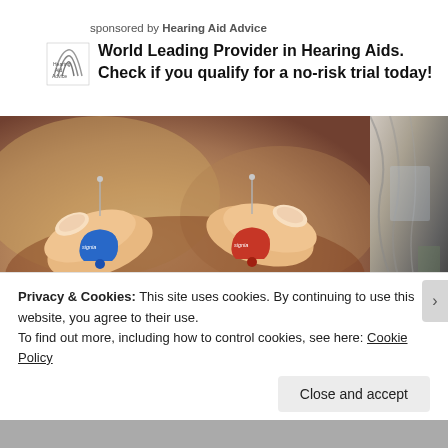sponsored by Hearing Aid Advice
World Leading Provider in Hearing Aids. Check if you qualify for a no-risk trial today!
[Figure (photo): Two small hearing aids (one blue, one red, both branded 'signia') held between fingers on a blurred brown background. Partial view of person's ear/hair on the right side.]
Privacy & Cookies: This site uses cookies. By continuing to use this website, you agree to their use.
To find out more, including how to control cookies, see here: Cookie Policy
Close and accept